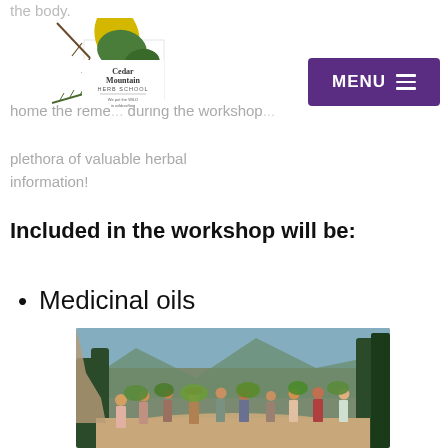[Figure (logo): Cedar Mountain Herb School logo with botanical illustrations and text 'We put the WILD in wildcrafting']
the body.
home the reme... during the workshop... plethora of valuable herbal information!
Included in the workshop will be:
Medicinal oils
[Figure (photo): Group of people outdoors on a trail holding large green plants and leaves, surrounded by forest and mountains]